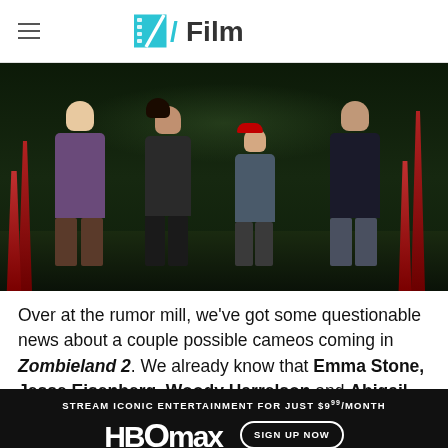/Film
[Figure (photo): Four people standing outdoors at night in a movie still, likely from Zombieland. From left to right: a young man in a purple hoodie, a woman in a white top and leather jacket, a young girl with long red hair wearing a plaid shirt and red beret, and a man in dark clothing with necklace.]
Over at the rumor mill, we've got some questionable news about a couple possible cameos coming in Zombieland 2. We already know that Emma Stone, Jesse Eisenberg, Woody Harrelson and Abigail Breslin are reprising their roles, but it turns out another cast member from the first movie might be coming along for the ride, bringing
[Figure (other): HBO Max advertisement banner: 'STREAM ICONIC ENTERTAINMENT FOR JUST $9.99/MONTH' with HBO Max logo and 'SIGN UP NOW' button on dark background.]